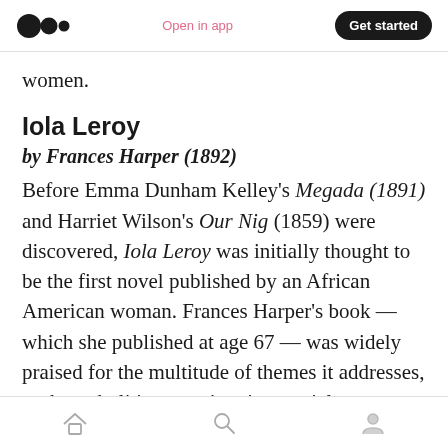Open in app | Get started
women.
Iola Leroy
by Frances Harper (1892)
Before Emma Dunham Kelley's Megada (1891) and Harriet Wilson's Our Nig (1859) were discovered, Iola Leroy was initially thought to be the first novel published by an African American woman. Frances Harper's book — which she published at age 67 — was widely praised for the multitude of themes it addresses, such as abolition, passing, interracial relationships, and
Home | Search | Profile